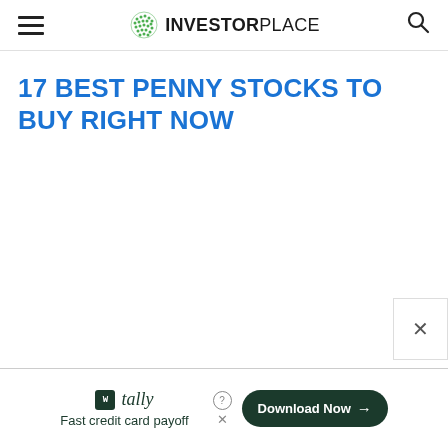INVESTORPLACE
17 BEST PENNY STOCKS TO BUY RIGHT NOW
[Figure (screenshot): Empty white content area below article title]
Fast credit card payoff
Download Now →